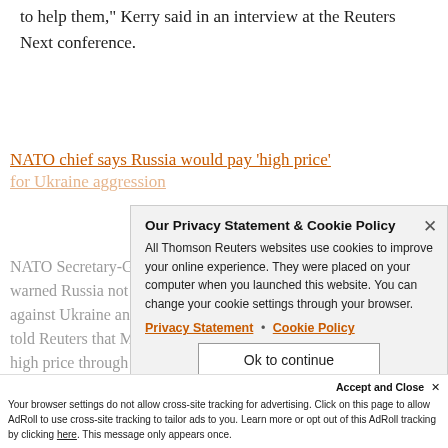to help them," Kerry said in an interview at the Reuters Next conference.
NATO chief says Russia would pay 'high price' for Ukraine aggression
NATO Secretary-General Jens Stoltenberg warned Russia not to use force against Ukraine and told Reuters that Moscow knew it would pay a high price through sanctions and other steps by NATO allies.
Our Privacy Statement & Cookie Policy
All Thomson Reuters websites use cookies to improve your online experience. They were placed on your computer when you launched this website. You can change your cookie settings through your browser.
Privacy Statement | Cookie Policy
Ok to continue
Accept and Close ✕
Your browser settings do not allow cross-site tracking for advertising. Click on this page to allow AdRoll to use cross-site tracking to tailor ads to you. Learn more or opt out of this AdRoll tracking by clicking here. This message only appears once.